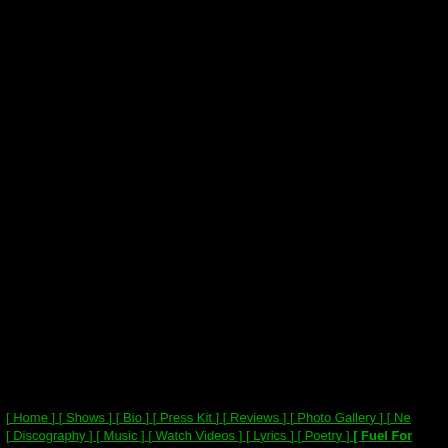[Figure (other): Large black background area covering most of the page, appears to be a website screenshot with black background]
[ Home ] [ Shows ] [ Bio ] [ Press Kit ] [ Reviews ] [ Photo Gallery ] [ Ne... [ Discography ] [ Music ] [ Watch Videos ] [ Lyrics ] [ Poetry ] [ Fuel For...